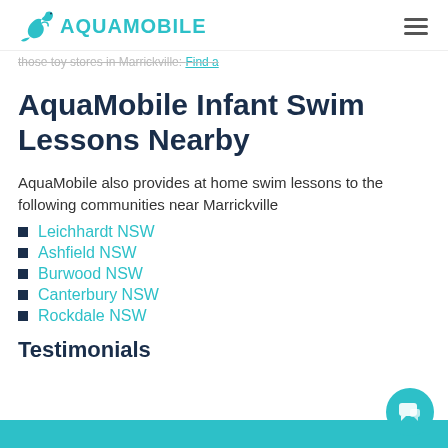AQUAMOBILE
those toy stores in Marrickville: Find a
AquaMobile Infant Swim Lessons Nearby
AquaMobile also provides at home swim lessons to the following communities near Marrickville
Leichhardt NSW
Ashfield NSW
Burwood NSW
Canterbury NSW
Rockdale NSW
Testimonials